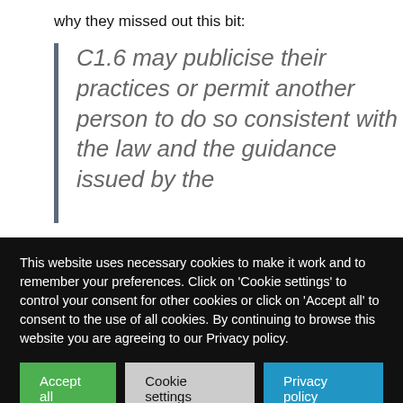why they missed out this bit:
C1.6 may publicise their practices or permit another person to do so consistent with the law and the guidance issued by the
This website uses necessary cookies to make it work and to remember your preferences. Click on 'Cookie settings' to control your consent for other cookies or click on 'Accept all' to consent to the use of all cookies. By continuing to browse this website you are agreeing to our Privacy policy.
Accept all
Cookie settings
Privacy policy